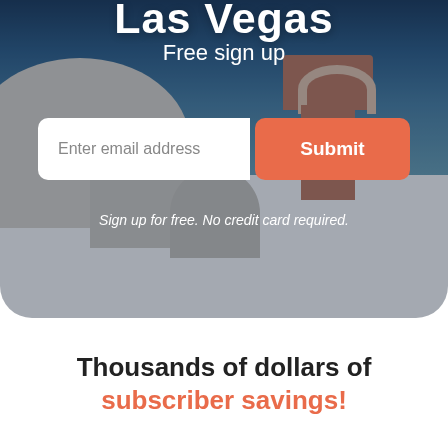[Figure (photo): Aerial/elevated view of white-washed Santorini buildings with blue domes and a red/orange bell tower against a dark blue sea background, used as hero image]
Las Vegas
Free sign up
Enter email address
Submit
Sign up for free. No credit card required.
Thousands of dollars of subscriber savings!